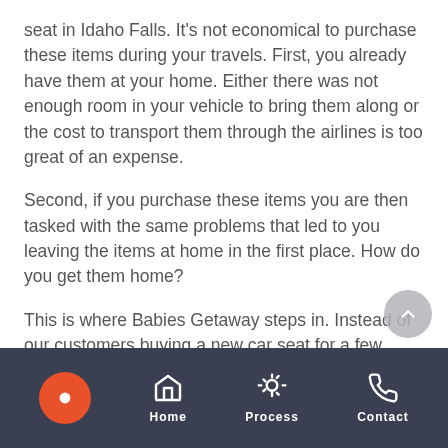seat in Idaho Falls. It's not economical to purchase these items during your travels. First, you already have them at your home. Either there was not enough room in your vehicle to bring them along or the cost to transport them through the airlines is too great of an expense.
Second, if you purchase these items you are then tasked with the same problems that led to you leaving the items at home in the first place. How do you get them home?
This is where Babies Getaway steps in. Instead of our customers buying a new car seat for a few days, or even a week, we offer an affordable solution, baby equipment rentals. Parents can rent baby gear in Idaho Falls. When it's time to return home you are…